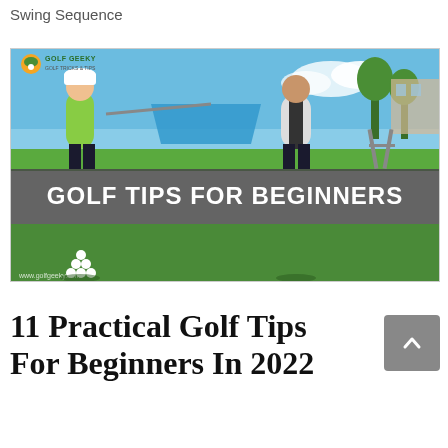Swing Sequence
[Figure (photo): Golf tips for beginners thumbnail image showing two golfers on a course, one in green shirt and one in white vest, holding a golf club between them. A banner overlay reads 'GOLF TIPS FOR BEGINNERS'. Golf Geeky logo in top-left. URL www.golfgeeky.com at bottom-left.]
11 Practical Golf Tips For Beginners In 2022